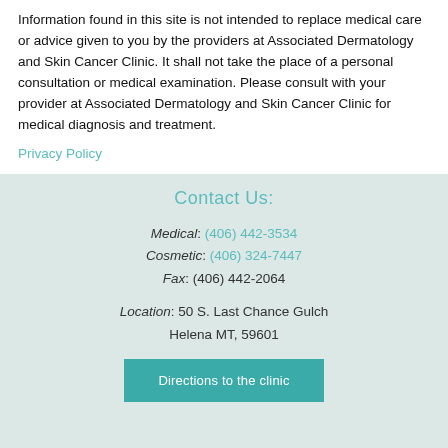Information found in this site is not intended to replace medical care or advice given to you by the providers at Associated Dermatology and Skin Cancer Clinic. It shall not take the place of a personal consultation or medical examination. Please consult with your provider at Associated Dermatology and Skin Cancer Clinic for medical diagnosis and treatment.
Privacy Policy
Contact Us:
Medical: (406) 442-3534
Cosmetic: (406) 324-7447
Fax: (406) 442-2064
Location: 50 S. Last Chance Gulch
Helena MT, 59601
Directions to the clinic